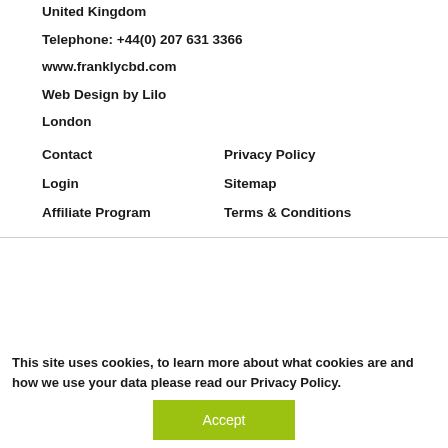United Kingdom
Telephone: +44(0) 207 631 3366
www.franklycbd.com
Web Design by Lilo
London
Contact
Privacy Policy
Login
Sitemap
Affiliate Program
Terms & Conditions
This site uses cookies, to learn more about what cookies are and how we use your data please read our Privacy Policy.